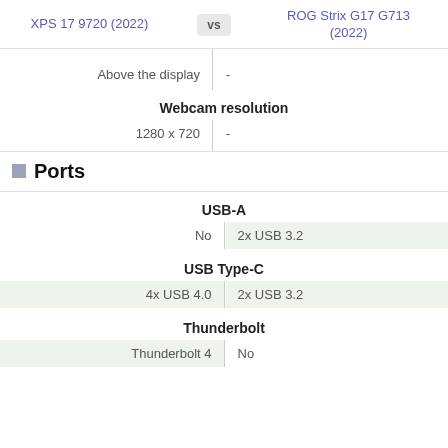XPS 17 9720 (2022) vs ROG Strix G17 G713 (2022)
| XPS 17 9720 (2022) |  | ROG Strix G17 G713 (2022) |
| --- | --- | --- |
|  | Above the display | - |
|  | Webcam resolution |  |
| 1280 x 720 |  | - |
|  | USB-A |  |
| No |  | 2x USB 3.2 |
|  | USB Type-C |  |
| 4x USB 4.0 |  | 2x USB 3.2 |
|  | Thunderbolt |  |
| Thunderbolt 4 |  | No |